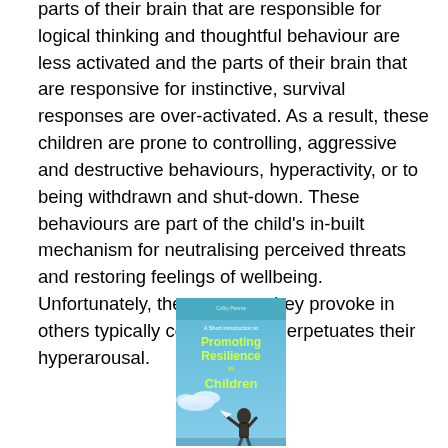parts of their brain that are responsible for logical thinking and thoughtful behaviour are less activated and the parts of their brain that are responsive for instinctive, survival responses are over-activated. As a result, these children are prone to controlling, aggressive and destructive behaviours, hyperactivity, or to being withdrawn and shut-down. These behaviours are part of the child's in-built mechanism for neutralising perceived threats and restoring feelings of wellbeing. Unfortunately, the response they provoke in others typically confirms and perpetuates their hyperarousal.
[Figure (illustration): Book cover of 'A Short Introduction to Promoting Resilience in Children' by Colby Pearce, with blue sky background and a child's silhouette]